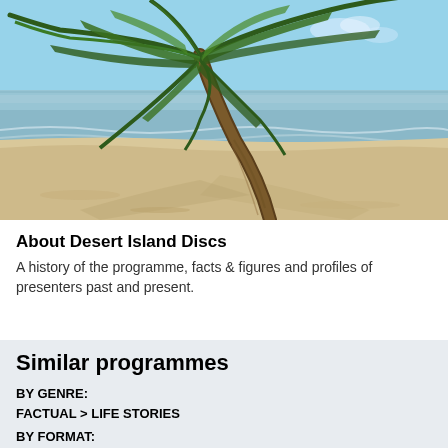[Figure (photo): Tropical beach scene with a leaning palm tree in the foreground, white sandy beach and calm turquoise ocean in the background under a blue sky.]
About Desert Island Discs
A history of the programme, facts & figures and profiles of presenters past and present.
Similar programmes
BY GENRE:
FACTUAL > LIFE STORIES
BY FORMAT: